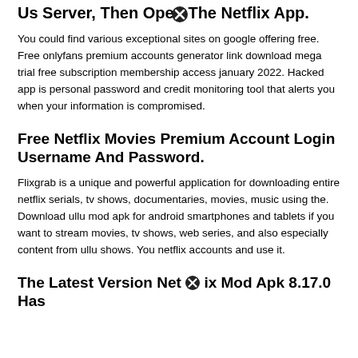Us Server, Then Open The Netflix App.
You could find various exceptional sites on google offering free. Free onlyfans premium accounts generator link download mega trial free subscription membership access january 2022. Hacked app is personal password and credit monitoring tool that alerts you when your information is compromised.
Free Netflix Movies Premium Account Login Username And Password.
Flixgrab is a unique and powerful application for downloading entire netflix serials, tv shows, documentaries, movies, music using the. Download ullu mod apk for android smartphones and tablets if you want to stream movies, tv shows, web series, and also especially content from ullu shows. You netflix accounts and use it.
The Latest Version Netflix Mod Apk 8.17.0 Has